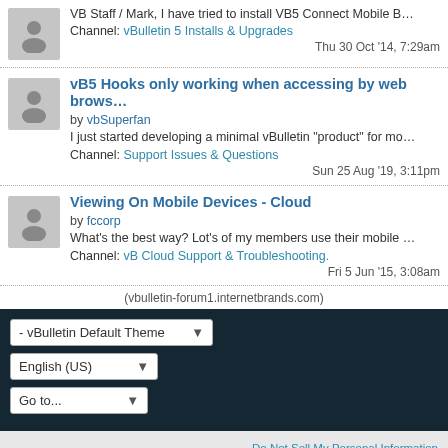VB Staff / Mark, I have tried to install VB5 Connect Mobile B... Channel: vBulletin 5 Installs & Upgrades Thu 30 Oct '14, 7:29am
vB5 Hooks only working when accessing by web brows... by vbSuperfan I just started developing a minimal vBulletin "product" for mo... Channel: Support Issues & Questions Sun 25 Aug '19, 3:11pm
Viewing On Mobile Devices - Cloud by fccorp What's the best way? Lot's of my members use their mobile ... Channel: vB Cloud Support & Troubleshooting. Fri 5 Jun '15, 3:08am
(vbulletin-forum1.internetbrands.com)
- vBulletin Default Theme
English (US)
Go to...
Do Not Sell My Personal Information Powered by vBulletin® Version 5.6.9 Copyright © 2022 MH Sub I, LLC dba vBulletin. All rights reserved. All times are GMT-8. This page was generated at 12:12am.